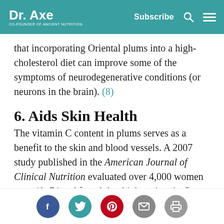Dr. Axe — Co-Founder of Ancient Nutrition | Subscribe
that incorporating Oriental plums into a high-cholesterol diet can improve some of the symptoms of neurodegenerative conditions (or neurons in the brain). (8)
6. Aids Skin Health
The vitamin C content in plums serves as a benefit to the skin and blood vessels. A 2007 study published in the American Journal of Clinical Nutrition evaluated over 4,000 women ages 40–74 and found that higher vitamin C intakes lowered the likelihood of a wrinkled appearance, dryness of the skin and helped naturally slow
Social share buttons: Facebook, Twitter, Pinterest, Email, Print